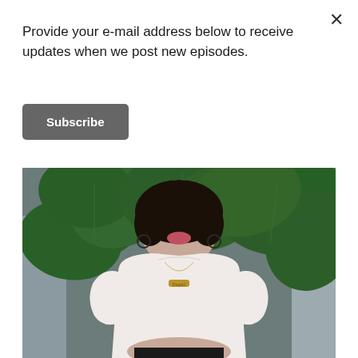Provide your e-mail address below to receive updates when we post new episodes.
Subscribe
[Figure (photo): A woman with curly dark hair, smiling, wearing a white crop top with a gold name necklace, standing in front of large tropical green leaves (fiddle-leaf fig plant). She is wearing black pants. The photo has a warm, slightly vintage tone.]